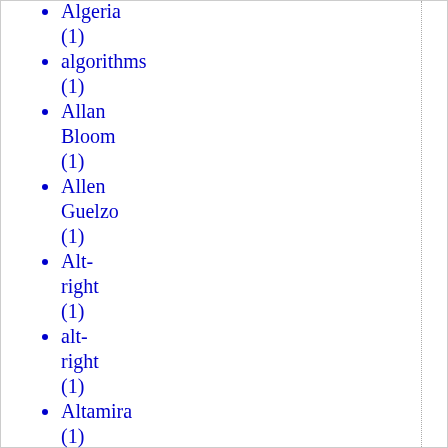Algeria (1)
algorithms (1)
Allan Bloom (1)
Allen Guelzo (1)
Alt-right (1)
alt-right (1)
Altamira (1)
Altruism (1)
Alzheimer's (5)
Amanda Marcotte (1)
America